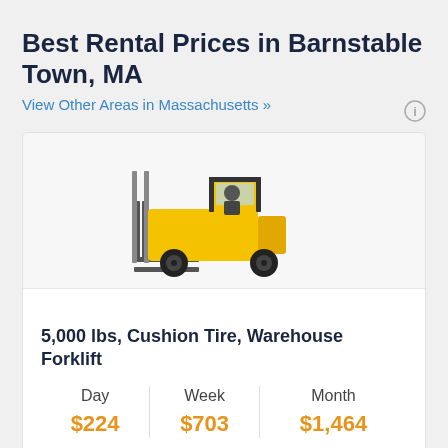Best Rental Prices in Barnstable Town, MA
View Other Areas in Massachusetts »
[Figure (photo): Yellow and black warehouse forklift (cushion tire, 5,000 lb capacity) shown in side profile]
5,000 lbs, Cushion Tire, Warehouse Forklift
| Day | Week | Month |
| --- | --- | --- |
| $224 | $703 | $1,464 |